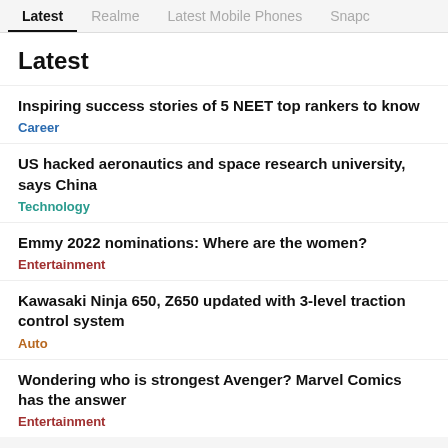Latest | Realme | Latest Mobile Phones | Snapc
Latest
Inspiring success stories of 5 NEET top rankers to know
Career
US hacked aeronautics and space research university, says China
Technology
Emmy 2022 nominations: Where are the women?
Entertainment
Kawasaki Ninja 650, Z650 updated with 3-level traction control system
Auto
Wondering who is strongest Avenger? Marvel Comics has the answer
Entertainment